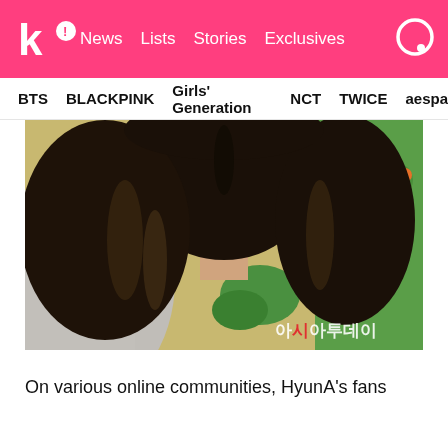k! News  Lists  Stories  Exclusives
BTS  BLACKPINK  Girls' Generation  NCT  TWICE  aespa
[Figure (photo): Close-up photo of a person with long wavy dark brown hair wearing a light grey top and green floral clothing. Watermark reads 아시아투데이 in the bottom right corner.]
On various online communities, HyunA's fans